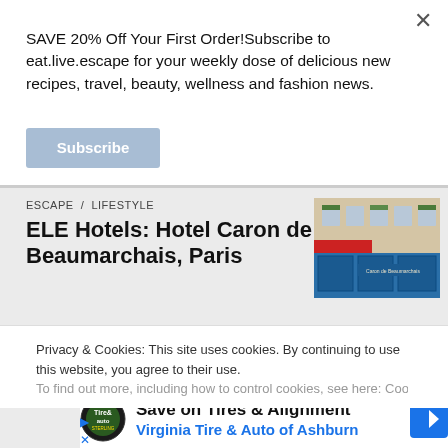SAVE 20% Off Your First Order!Subscribe to eat.live.escape for your weekly dose of delicious new recipes, travel, beauty, wellness and fashion news.
Subscribe
ESCAPE / LIFESTYLE
ELE Hotels: Hotel Caron de Beaumarchais, Paris
[Figure (photo): Photo of Hotel Caron de Beaumarchais in Paris, showing a building facade with red awning and blue storefront]
Paris is not short of impeccable 5 star hotels that epitomise luxurious French style, however if you are looking for… Continue Reading
Privacy & Cookies: This site uses cookies. By continuing to use this website, you agree to their use.
To find out more, including how to control cookies, see here: Cookie
[Figure (logo): Virginia Tire & Auto logo - circular green and black logo]
Save on Tires & Alignment
Virginia Tire & Auto of Ashburn